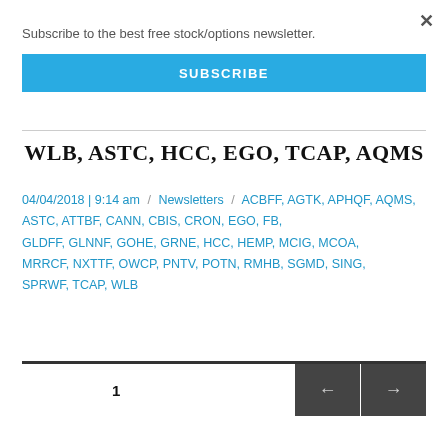Subscribe to the best free stock/options newsletter.
SUBSCRIBE
WLB, ASTC, HCC, EGO, TCAP, AQMS
04/04/2018 | 9:14 am / Newsletters / ACBFF, AGTK, APHQF, AQMS, ASTC, ATTBF, CANN, CBIS, CRON, EGO, FB, GLDFF, GLNNF, GOHE, GRNE, HCC, HEMP, MCIG, MCOA, MRRCF, NXTTF, OWCP, PNTV, POTN, RMHB, SGMD, SING, SPRWF, TCAP, WLB
1